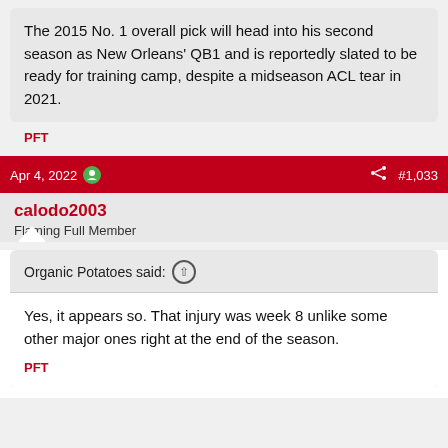The 2015 No. 1 overall pick will head into his second season as New Orleans' QB1 and is reportedly slated to be ready for training camp, despite a midseason ACL tear in 2021.
PFT
Apr 4, 2022  #1,033
calodo2003
Flaming Full Member
Organic Potatoes said:
Yes, it appears so. That injury was week 8 unlike some other major ones right at the end of the season.
PFT